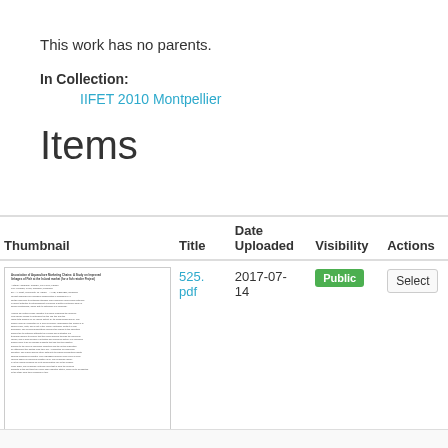This work has no parents.
In Collection:
IIFET 2010 Montpellier
Items
| Thumbnail | Title | Date Uploaded | Visibility | Actions |
| --- | --- | --- | --- | --- |
| [thumbnail image] | 525.pdf | 2017-07-14 | Public | Select |